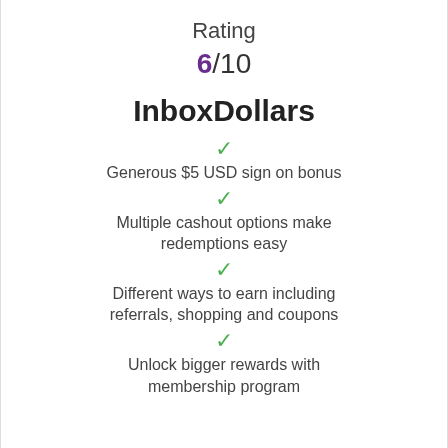Rating
6/10
InboxDollars
Generous $5 USD sign on bonus
Multiple cashout options make redemptions easy
Different ways to earn including referrals, shopping and coupons
Unlock bigger rewards with membership program